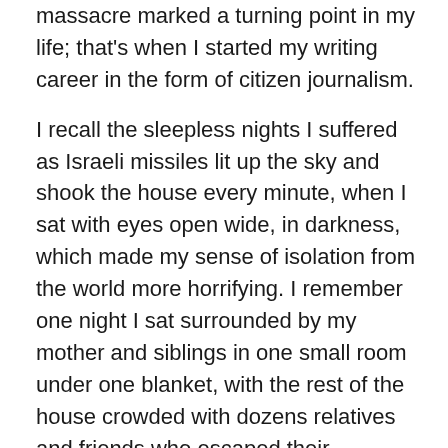massacre marked a turning point in my life; that's when I started my writing career in the form of citizen journalism.

I recall the sleepless nights I suffered as Israeli missiles lit up the sky and shook the house every minute, when I sat with eyes open wide, in darkness, which made my sense of isolation from the world more horrifying. I remember one night I sat surrounded by my mother and siblings in one small room under one blanket, with the rest of the house crowded with dozens relatives and friends who escaped their dangerous neighborhoods. No voice could be heard, just heartbeats and breaths getting heavier every time another bombing was heard. Suddenly, my father opened the door rushing us to “leave home now,” following a bomb threat that our next-door neighbors received. I remember how my siblings and I grasped my mother’s hands and started running outside, unconsciously, barefoot. For three